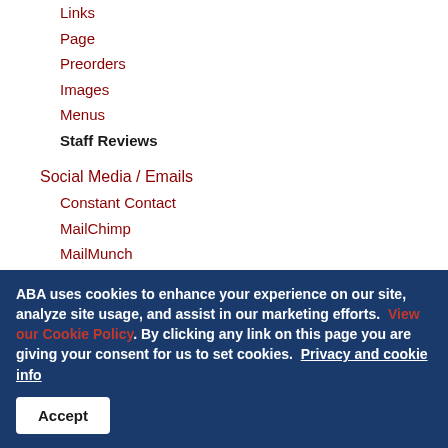Links
Page
Preorders
Images
Menus
Staff Reviews
Social Media / Emails
Constant Contact
MailChimp
MailMunch
Social Media
eCommerce Administration
Cart Settings
Preferred / Chosen Name for Customer
Discount Coupons
ABA uses cookies to enhance your experience on our site, analyze site usage, and assist in our marketing efforts. View our Cookie Policy. By clicking any link on this page you are giving your consent for us to set cookies. Privacy and cookie info
Accept